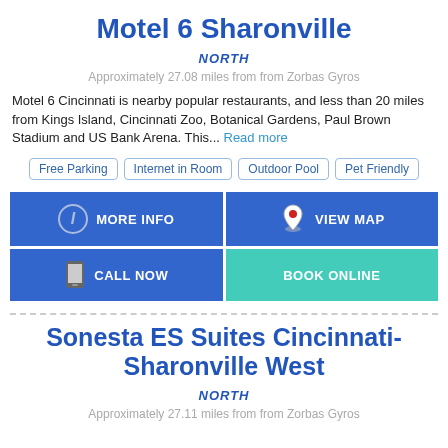Motel 6 Sharonville
NORTH
Approximately 27.08 miles from from Zorbas Gyros
Motel 6 Cincinnati is nearby popular restaurants, and less than 20 miles from Kings Island, Cincinnati Zoo, Botanical Gardens, Paul Brown Stadium and US Bank Arena. This... Read more
Free Parking
Internet in Room
Outdoor Pool
Pet Friendly
MORE INFO
VIEW MAP
CALL NOW
BOOK ONLINE
Sonesta ES Suites Cincinnati-Sharonville West
NORTH
Approximately 27.11 miles from from Zorbas Gyros